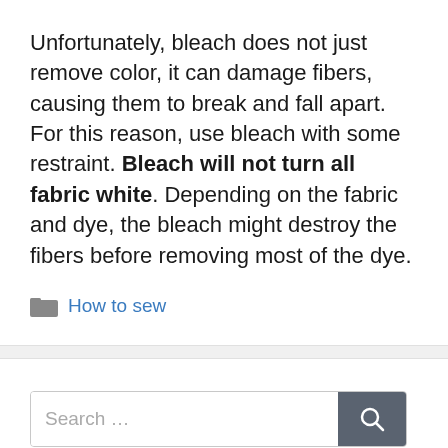Unfortunately, bleach does not just remove color, it can damage fibers, causing them to break and fall apart. For this reason, use bleach with some restraint. Bleach will not turn all fabric white. Depending on the fabric and dye, the bleach might destroy the fibers before removing most of the dye.
How to sew
[Figure (other): Search bar with magnifying glass icon button]